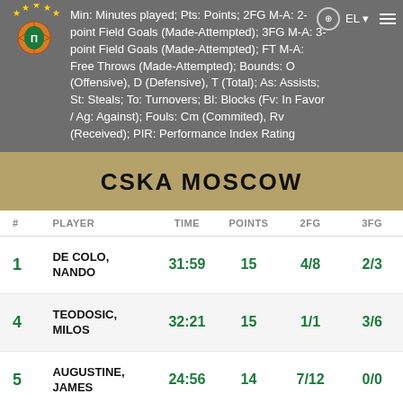Min: Minutes played; Pts: Points; 2FG M-A: 2-point Field Goals (Made-Attempted); 3FG M-A: 3-point Field Goals (Made-Attempted); FT M-A: Free Throws (Made-Attempted); Bounds: O (Offensive), D (Defensive), T (Total); As: Assists; St: Steals; To: Turnovers; Bl: Blocks (Fv: In Favor / Ag: Against); Fouls: Cm (Commited), Rv (Received); PIR: Performance Index Rating
CSKA MOSCOW
| # | PLAYER | TIME | POINTS | 2FG | 3FG |
| --- | --- | --- | --- | --- | --- |
| 1 | DE COLO, NANDO | 31:59 | 15 | 4/8 | 2/3 |
| 4 | TEODOSIC, MILOS | 32:21 | 15 | 1/1 | 3/6 |
| 5 | AUGUSTINE, JAMES | 24:56 | 14 | 7/12 | 0/0 |
|  | FRIDZON, |  |  |  |  |